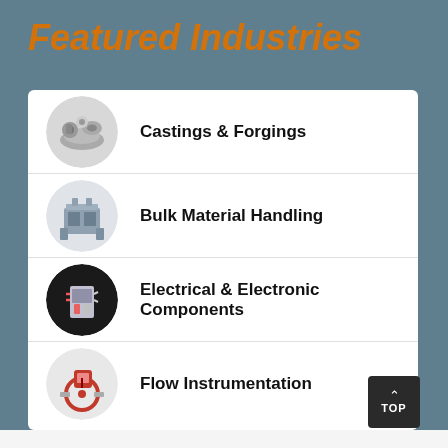Featured Industries
Castings & Forgings
Bulk Material Handling
Electrical & Electronic Components
Flow Instrumentation